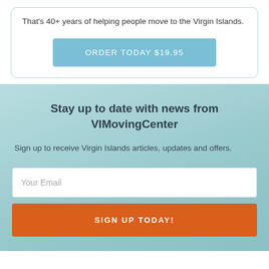That's 40+ years of helping people move to the Virgin Islands.
ORDER TODAY $19.95
Stay up to date with news from VIMovingCenter
Sign up to receive Virgin Islands articles, updates and offers.
Your Email
SIGN UP TODAY!